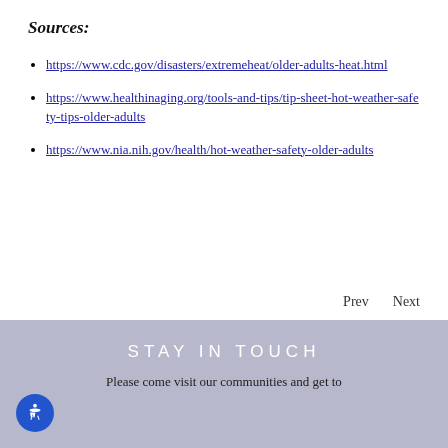Sources:
https://www.cdc.gov/disasters/extremeheat/older-adults-heat.html
https://www.healthinaging.org/tools-and-tips/tip-sheet-hot-weather-safety-tips-older-adults
https://www.nia.nih.gov/health/hot-weather-safety-older-adults
Prev   Next
STAY IN TOUCH
Please come visit our communities and get to